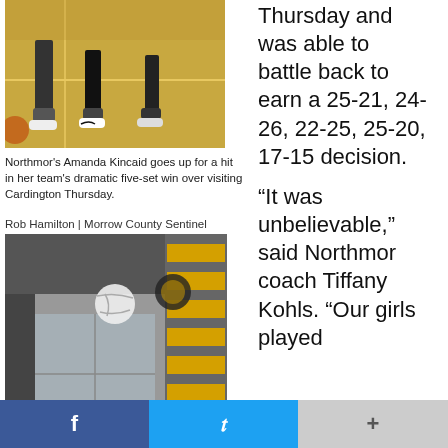[Figure (photo): Basketball court floor with players' feet and shoes visible, yellow court with lines]
Northmor's Amanda Kincaid goes up for a hit in her team's dramatic five-set win over visiting Cardington Thursday.
Rob Hamilton | Morrow County Sentinel
Thursday and was able to battle back to earn a 25-21, 24-26, 22-25, 25-20, 17-15 decision.
[Figure (photo): Indoor volleyball gym with a volleyball in the air, spectators and equipment visible in background, black and yellow school colors]
“It was unbelievable,” said Northmor coach Tiffany Kohls. “Our girls played